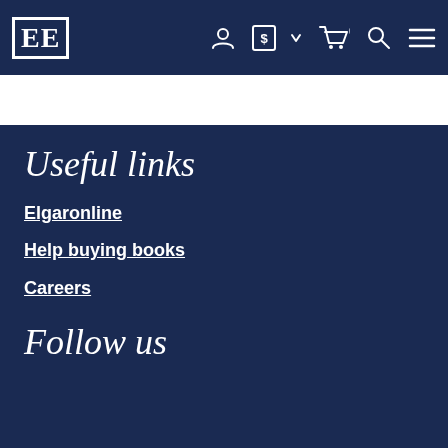EE [logo] — navigation bar with user icon, dollar currency selector, cart (0), search, menu
Useful links
Elgaronline
Help buying books
Careers
Follow us